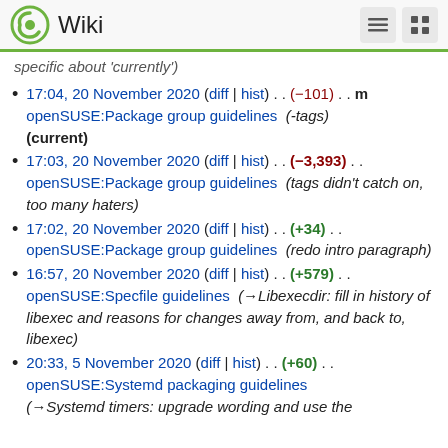Wiki
specific about 'currently')
17:04, 20 November 2020 (diff | hist) . . (−101) . . m openSUSE:Package group guidelines (-tags) (current)
17:03, 20 November 2020 (diff | hist) . . (−3,393) . . openSUSE:Package group guidelines (tags didn't catch on, too many haters)
17:02, 20 November 2020 (diff | hist) . . (+34) . . openSUSE:Package group guidelines (redo intro paragraph)
16:57, 20 November 2020 (diff | hist) . . (+579) . . openSUSE:Specfile guidelines (→Libexecdir: fill in history of libexec and reasons for changes away from, and back to, libexec)
20:33, 5 November 2020 (diff | hist) . . (+60) . . openSUSE:Systemd packaging guidelines (→Systemd timers: upgrade wording and use the